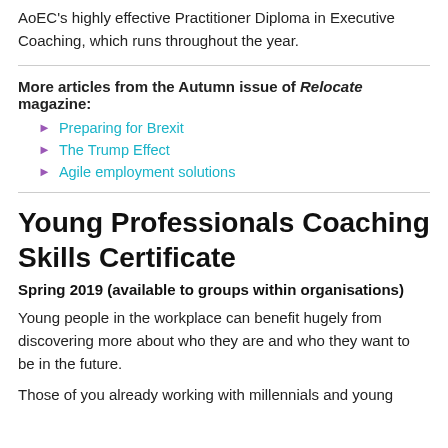AoEC's highly effective Practitioner Diploma in Executive Coaching, which runs throughout the year.
More articles from the Autumn issue of Relocate magazine:
Preparing for Brexit
The Trump Effect
Agile employment solutions
Young Professionals Coaching Skills Certificate
Spring 2019 (available to groups within organisations)
Young people in the workplace can benefit hugely from discovering more about who they are and who they want to be in the future.
Those of you already working with millennials and young